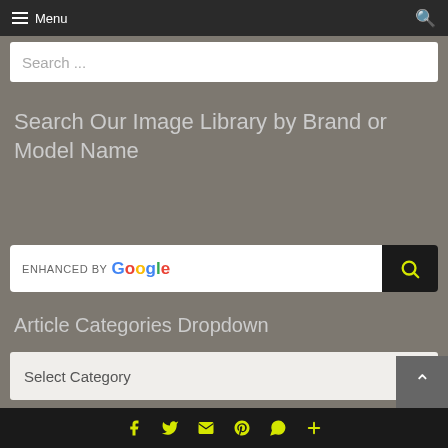Menu
Search...
Search Our Image Library by Brand or Model Name
[Figure (screenshot): Google enhanced search bar with search button]
Article Categories Dropdown
Select Category
Monthly Archives Dropdown
Social icons: Facebook, Twitter, Email, Pinterest, WhatsApp, Plus